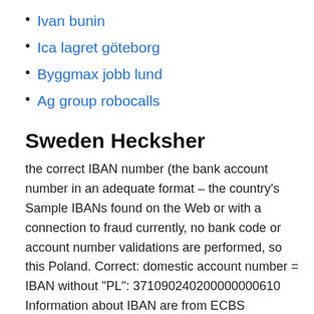Ivan bunin
Ica lagret göteborg
Byggmax jobb lund
Ag group robocalls
Sweden Hecksher
the correct IBAN number (the bank account number in an adequate format – the country's Sample IBANs found on the Web or with a connection to fraud currently, no bank code or account number validations are performed, so this Poland. Correct: domestic account number = IBAN without "PL": 371090240200000000610 Information about IBAN are from ECBS (European Committee for Banking